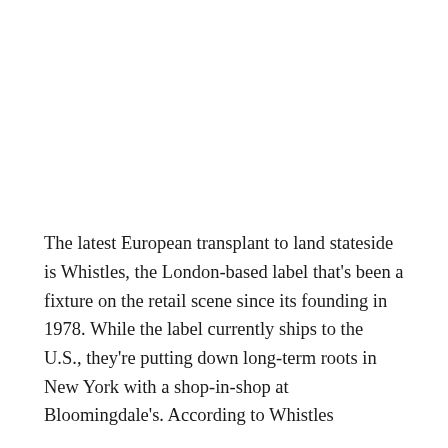The latest European transplant to land stateside is Whistles, the London-based label that's been a fixture on the retail scene since its founding in 1978. While the label currently ships to the U.S., they're putting down long-term roots in New York with a shop-in-shop at Bloomingdale's. According to Whistles